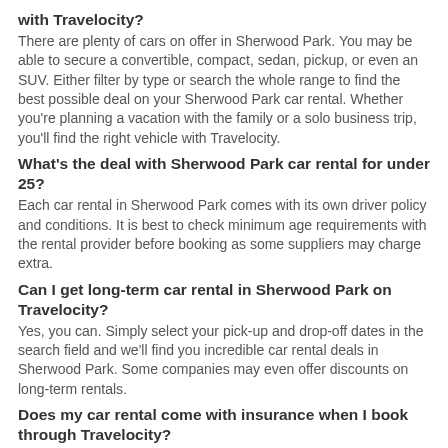with Travelocity?
There are plenty of cars on offer in Sherwood Park. You may be able to secure a convertible, compact, sedan, pickup, or even an SUV. Either filter by type or search the whole range to find the best possible deal on your Sherwood Park car rental. Whether you're planning a vacation with the family or a solo business trip, you'll find the right vehicle with Travelocity.
What's the deal with Sherwood Park car rental for under 25?
Each car rental in Sherwood Park comes with its own driver policy and conditions. It is best to check minimum age requirements with the rental provider before booking as some suppliers may charge extra.
Can I get long-term car rental in Sherwood Park on Travelocity?
Yes, you can. Simply select your pick-up and drop-off dates in the search field and we'll find you incredible car rental deals in Sherwood Park. Some companies may even offer discounts on long-term rentals.
Does my car rental come with insurance when I book through Travelocity?
It depends on the type of offer and provider you've selected. To have all the information you need, check the details of your deal before you book.